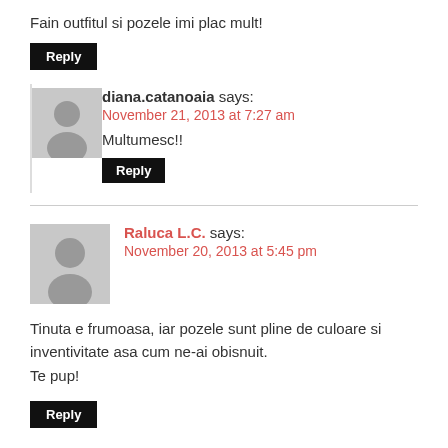Fain outfitul si pozele imi plac mult!
Reply
diana.catanoaia says:
November 21, 2013 at 7:27 am
Multumesc!!
Reply
Raluca L.C. says:
November 20, 2013 at 5:45 pm
Tinuta e frumoasa, iar pozele sunt pline de culoare si inventivitate asa cum ne-ai obisnuit.
Te pup!
Reply